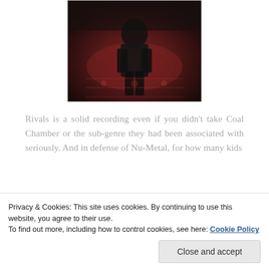[Figure (photo): Photo of a person seated on an ornate red patterned rug/couch, wearing dark clothing, in a dimly lit setting]
Rivals is a solid recording even if you didn't take Coal Chamber or the sub-genre they had been associated with seriously. And in defense of Nu-Metal, for how many kids
Privacy & Cookies: This site uses cookies. By continuing to use this website, you agree to their use.
To find out more, including how to control cookies, see here: Cookie Policy
Close and accept
to be written on the importance of Nu-Metal,